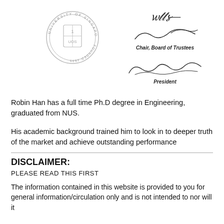[Figure (other): University of Singapore circular seal/stamp with shield emblem in the center]
[Figure (other): Two signatures: first labeled 'Chair, Board of Trustees', second labeled 'President' (Tan Chorh Chuan)]
Robin Han has a full time Ph.D degree in Engineering, graduated from NUS.
His academic background trained him to look in to deeper truth of the market and achieve outstanding performance
DISCLAIMER:
PLEASE READ THIS FIRST
The information contained in this website is provided to you for general information/circulation only and is not intended to nor will it